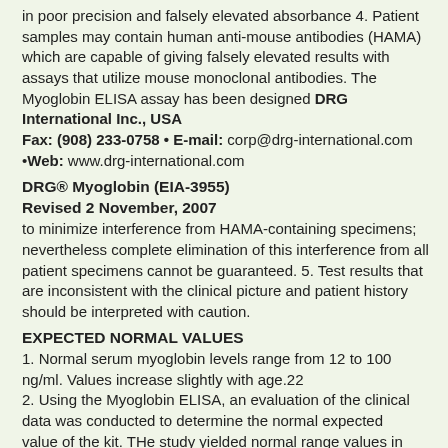in poor precision and falsely elevated absorbance 4. Patient samples may contain human anti-mouse antibodies (HAMA) which are capable of giving falsely elevated results with assays that utilize mouse monoclonal antibodies. The Myoglobin ELISA assay has been designed DRG International Inc., USA Fax: (908) 233-0758 • E-mail: corp@drg-international.com •Web: www.drg-international.com
DRG® Myoglobin (EIA-3955) Revised 2 November, 2007
to minimize interference from HAMA-containing specimens; nevertheless complete elimination of this interference from all patient specimens cannot be guaranteed. 5. Test results that are inconsistent with the clinical picture and patient history should be interpreted with caution.
EXPECTED NORMAL VALUES
1. Normal serum myoglobin levels range from 12 to 100 ng/ml. Values increase slightly with age.22
2. Using the Myoglobin ELISA, an evaluation of the clinical data was conducted to determine the normal expected value of the kit. THe study yielded normal range values in agreement with industry standards. Eighty-three (83) apparently healthy adults were